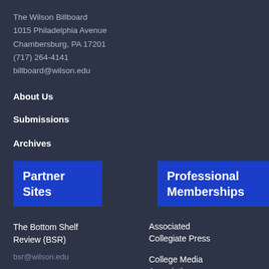The Wilson Billboard
1015 Philadelphia Avenue
Chambersburg, PA 17201
(717) 264-4141
billboard@wilson.edu
About Us
Submissions
Archives
Partner Sites
Professional Memberships
The Bottom Shelf Review (BSR)
bsr@wilson.edu
Associated Collegiate Press
College Media Association
Pennsylvania